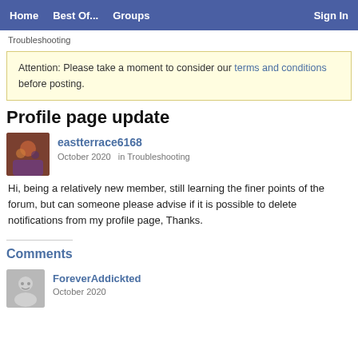Home  Best Of...  Groups  Sign In
Troubleshooting
Attention: Please take a moment to consider our terms and conditions before posting.
Profile page update
eastterrace6168
October 2020  in Troubleshooting
Hi, being a relatively new member, still learning the finer points of the forum, but can someone please advise if it is possible to delete notifications from my profile page, Thanks.
Comments
ForeverAddickted
October 2020